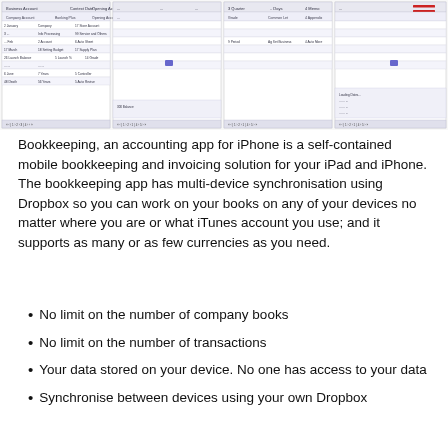[Figure (screenshot): Four iPhone/iPad app screenshots showing a bookkeeping app interface with spreadsheet-like tables of transactions and a hamburger menu icon visible top right]
Bookkeeping, an accounting app for iPhone is a self-contained mobile bookkeeping and invoicing solution for your iPad and iPhone. The bookkeeping app has multi-device synchronisation using Dropbox so you can work on your books on any of your devices no matter where you are or what iTunes account you use; and it supports as many or as few currencies as you need.
No limit on the number of company books
No limit on the number of transactions
Your data stored on your device. No one has access to your data
Synchronise between devices using your own Dropbox